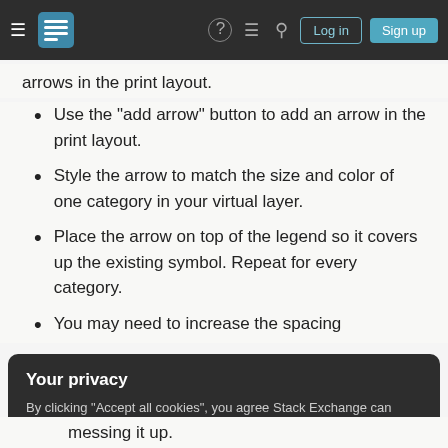Stack Exchange navigation bar with hamburger menu, logo, help, comments, search icons, Log in and Sign up buttons
arrows in the print layout.
Use the "add arrow" button to add an arrow in the print layout.
Style the arrow to match the size and color of one category in your virtual layer.
Place the arrow on top of the legend so it covers up the existing symbol. Repeat for every category.
You may need to increase the spacing
Your privacy
By clicking "Accept all cookies", you agree Stack Exchange can store cookies on your device and disclose information in accordance with our Cookie Policy.
Accept all cookies   Customize settings
messing it up.